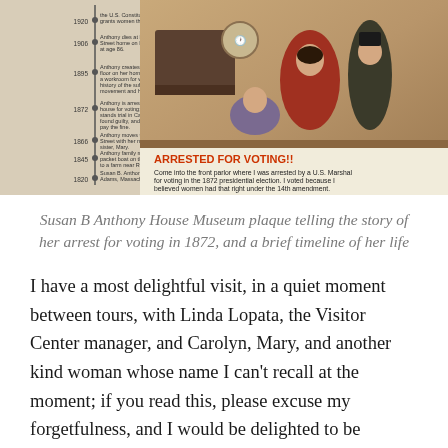[Figure (photo): Susan B Anthony House Museum plaque showing a timeline of her life on the left side and an illustration of the parlor scene with figures in period dress on the right. Text reads 'ARRESTED FOR VOTING!!' in red/orange, with description: 'Come into the front parlor where I was arrested by a U.S. Marshal for voting in the 1872 presidential election. I voted because I believed women had that right under the 14th amendment.']
Susan B Anthony House Museum plaque telling the story of her arrest for voting in 1872, and a brief timeline of her life
I have a most delightful visit, in a quiet moment between tours, with Linda Lopata, the Visitor Center manager, and Carolyn, Mary, and another kind woman whose name I can't recall at the moment; if you read this, please excuse my forgetfulness, and I would be delighted to be reintroduced! They have a wealth of information to share